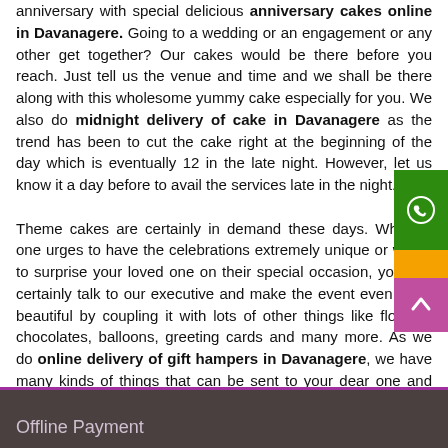anniversary with special delicious anniversary cakes online in Davanagere. Going to a wedding or an engagement or any other get together? Our cakes would be there before you reach. Just tell us the venue and time and we shall be there along with this wholesome yummy cake especially for you. We also do midnight delivery of cake in Davanagere as the trend has been to cut the cake right at the beginning of the day which is eventually 12 in the late night. However, let us know it a day before to avail the services late in the night.

Theme cakes are certainly in demand these days. Whether one urges to have the celebrations extremely unique or wants to surprise your loved one on their special occasion, you can certainly talk to our executive and make the event even more beautiful by coupling it with lots of other things like flowers, chocolates, balloons, greeting cards and many more. As we do online delivery of gift hampers in Davanagere, we have many kinds of things that can be sent to your dear one and make their day even more cherishable.
[Figure (other): Green WhatsApp icon button on right sidebar]
[Figure (other): Orange phone icon button on right sidebar]
[Figure (other): Purple scroll-to-top arrow button bottom right]
Offline Payment